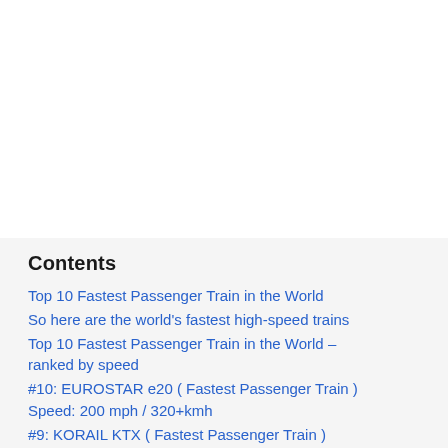Contents
Top 10 Fastest Passenger Train in the World
So here are the world's fastest high-speed trains
Top 10 Fastest Passenger Train in the World – ranked by speed
#10: EUROSTAR e20 ( Fastest Passenger Train ) Speed: 200 mph / 320+kmh
#9: KORAIL KTX ( Fastest Passenger Train ) Speed: 205 mph ( 330+kmh )